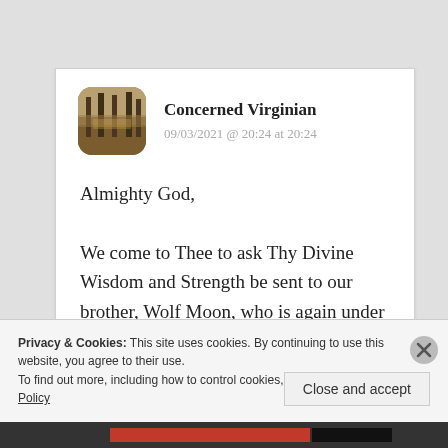[Figure (photo): Avatar image showing forest trees with warm autumn light, rounded square shape]
Concerned Virginian
09/03/2021 @ 20:24 at 20:24
Almighty God,
We come to Thee to ask Thy Divine Wisdom and Strength be sent to our brother, Wolf Moon, who is again under assault from forces both temporal and
Privacy & Cookies: This site uses cookies. By continuing to use this website, you agree to their use.
To find out more, including how to control cookies, see here: Cookie Policy
Close and accept